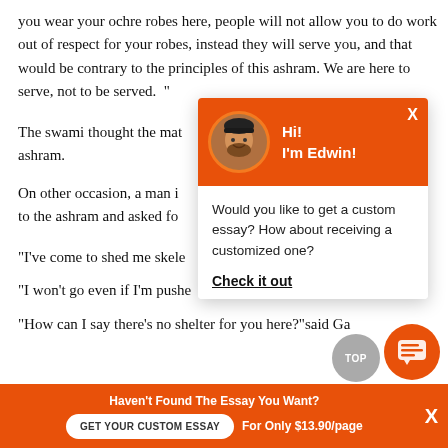you wear your ochre robes here, people will not allow you to do work out of respect for your robes, instead they will serve you, and that would be contrary to the principles of this ashram. We are here to serve, not to be served.  "
The swami thought the mat... ashram.
On other occasion, a man in... to the ashram and asked fo...
“I've come to shed me skele...
“I won't go even if I'm pushe...
“How can I say there’s no shelter for you here?”said Ga...
[Figure (screenshot): Chat popup widget with orange header showing avatar of bearded man and text 'Hi! I'm Edwin!', body asking 'Would you like to get a custom essay? How about receiving a customized one?' with 'Check it out' link]
Haven't Found The Essay You Want?
GET YOUR CUSTOM ESSAY
For Only $13.90/page